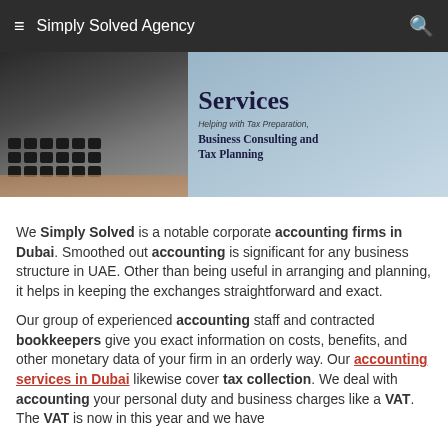≡  Simply Solved Agency  🔍
[Figure (photo): Hero banner image showing a keyboard on the left side with an accounting services overlay on the right. Text includes 'Services', 'Helping with Tax Preparation, Business Consulting and Tax Planning'.]
We Simply Solved is a notable corporate accounting firms in Dubai. Smoothed out accounting is significant for any business structure in UAE. Other than being useful in arranging and planning, it helps in keeping the exchanges straightforward and exact.
Our group of experienced accounting staff and contracted bookkeepers give you exact information on costs, benefits, and other monetary data of your firm in an orderly way. Our accounting services in Dubai likewise cover tax collection. We deal with accounting your personal duty and business charges like a VAT. The VAT is now in this year and we have